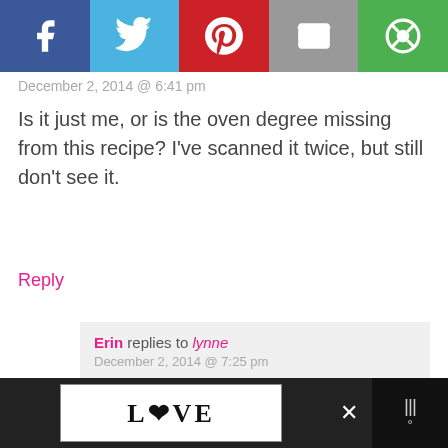[Figure (other): Social share bar with Facebook, Twitter, Pinterest, Email, and other share buttons]
December 2, 2014 @ 6:41 pm
Is it just me, or is the oven degree missing from this recipe? I've scanned it twice, but still don't see it.
Reply
Erin replies to lynne
December 2, 2014 @ 7:25 pm
Sorry about that! It's 350F. Will fix the post when I get home. Thanks for pointing it out!
Reply
[Figure (other): Scroll to top widget]
[Figure (other): Bottom advertisement bar with LOVE image and music widget]